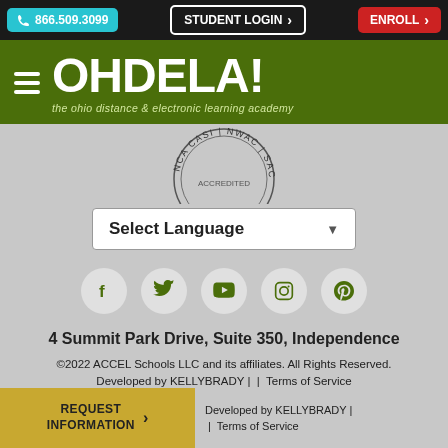866.509.3099 | STUDENT LOGIN | ENROLL
[Figure (logo): OHDELA! - the ohio distance & electronic learning academy logo on green background with hamburger menu icon]
[Figure (other): Circular accreditation seal showing NCA CASI / NWAC / SACS CASI]
Select Language
[Figure (other): Social media icons: Facebook, Twitter, YouTube, Instagram, Pinterest]
4 Summit Park Drive, Suite 350, Independence
©2022 ACCEL Schools LLC and its affiliates. All Rights Reserved.
Developed by KELLYBRADY | | Terms of Service
REQUEST INFORMATION >